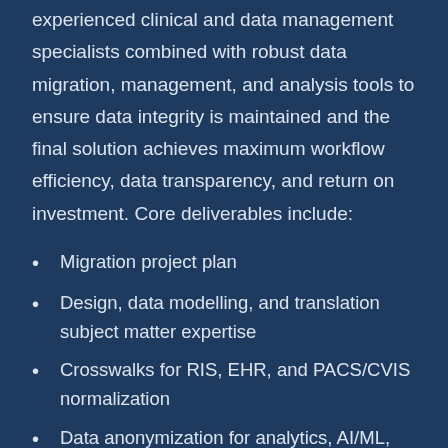experienced clinical and data management specialists combined with robust data migration, management, and analysis tools to ensure data integrity is maintained and the final solution achieves maximum workflow efficiency, data transparency, and return on investment. Core deliverables include:
Migration project plan
Design, data modelling, and translation subject matter expertise
Crosswalks for RIS, EHR, and PACS/CVIS normalization
Data anonymization for analytics, AI/ML, and